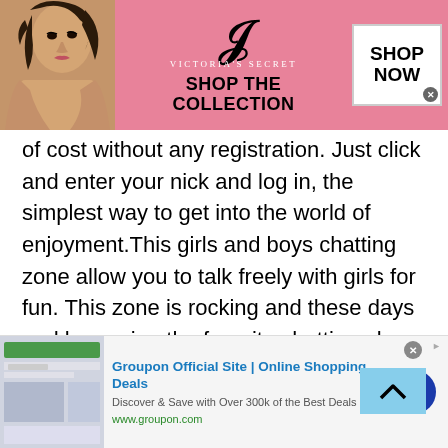[Figure (other): Victoria's Secret advertisement banner with model, VS logo, 'SHOP THE COLLECTION' text, and 'SHOP NOW' button]
of cost without any registration. Just click and enter your nick and log in, the simplest way to get into the world of enjoyment.This girls and boys chatting zone allow you to talk freely with girls for fun. This zone is rocking and these days and becoming the favorite chatting place for Americans,British, Pakistani and Indian chatters. Our Nigerien Mobile Chatting Rooms are a wonderful place to meet new girls and boys online from Pakistan, India, and many other countries. You can make friendships with the youngsters and chat 24/7. Read Why whatsapp chat
[Figure (other): Groupon Official Site | Online Shopping Deals advertisement. Discover & Save with Over 300k of the Best Deals. www.groupon.com]